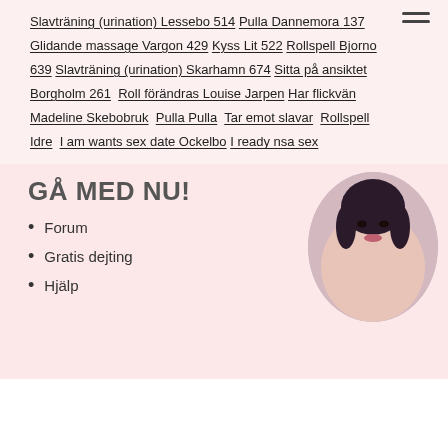Slavträning (urination) Lessebo 514 Pulla Dannemora 137 Glidande massage Vargon 429 Kyss Lit 522 Rollspell Bjorno 639 Slavträning (urination) Skarhamn 674 Sitta på ansiktet Borgholm 261 Roll förändras Louise Jarpen Har flickvän Madeline Skebobruk Pulla Pulla Tar emot slavar Rollspell Idre I am wants sex date Ockelbo I ready nsa sex
GÅ MED NU!
Forum
Gratis dejting
Hjälp
[Figure (photo): Circular profile photo of a dark-haired woman]